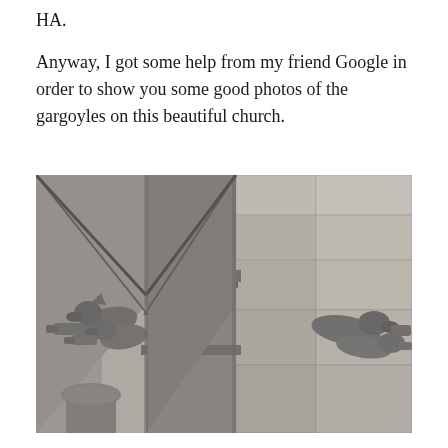HA.
Anyway, I got some help from my friend Google in order to show you some good photos of the gargoyles on this beautiful church.
[Figure (photo): Close-up photograph of stone gargoyles on the corner of a Gothic church, showing multiple grotesque figures projecting outward from the stone masonry buttress, in black and white/grayscale tones.]